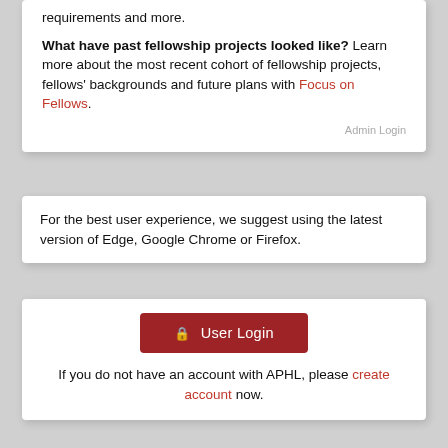requirements and more.
What have past fellowship projects looked like? Learn more about the most recent cohort of fellowship projects, fellows' backgrounds and future plans with Focus on Fellows.
Admin Login
For the best user experience, we suggest using the latest version of Edge, Google Chrome or Firefox.
🔒 User Login
If you do not have an account with APHL, please create account now.